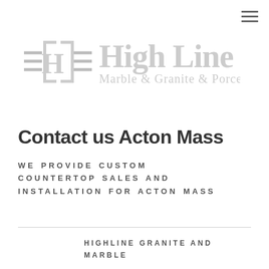[Figure (logo): High Line Marble Granite & Porcelain company logo with stylized [H] bracket emblem]
Contact us Acton Mass
WE PROVIDE CUSTOM COUNTERTOP SALES AND INSTALLATION FOR ACTON MASS
HIGHLINE GRANITE AND MARBLE